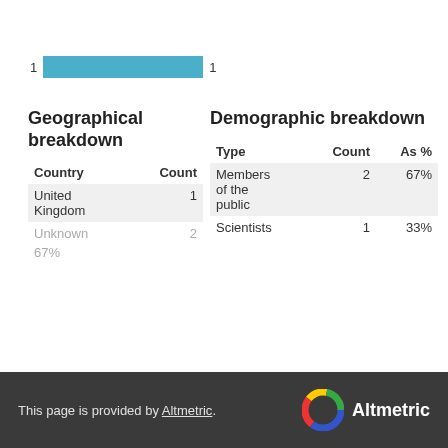[Figure (bar-chart): Bar chart showing count 1]
Geographical breakdown
| Country | Count |
| --- | --- |
| United Kingdom | 1 |
| Unknown | 2 | 67% |
Demographic breakdown
| Type | Count | As % |
| --- | --- | --- |
| Members of the public | 2 | 67% |
| Scientists | 1 | 33% |
This page is provided by Altmetric.